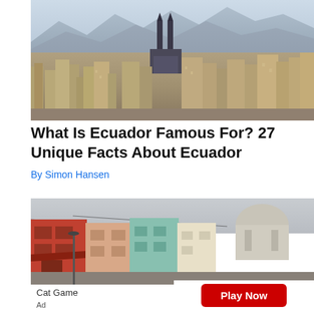[Figure (photo): Aerial view of Quito, Ecuador cityscape with the Basilica del Voto Nacional cathedral with twin spires visible in the center, surrounded by dense urban buildings and mountains in the background under a hazy sky.]
What Is Ecuador Famous For? 27 Unique Facts About Ecuador
By Simon Hansen
[Figure (photo): Street-level view of colorful colonial buildings in Latin America with a large domed capitol or government building visible in the background under a gray sky.]
Cat Game
Play Now
Ad